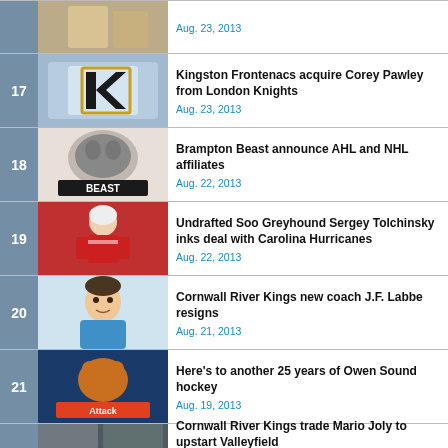17. Kingston Frontenacs acquire Corey Pawley from London Knights — Aug. 23, 2013
18. Brampton Beast announce AHL and NHL affiliates — Aug. 22, 2013
19. Undrafted Soo Greyhound Sergey Tolchinsky inks deal with Carolina Hurricanes — Aug. 22, 2013
20. Cornwall River Kings new coach J.F. Labbe resigns — Aug. 21, 2013
21. Here's to another 25 years of Owen Sound hockey — Aug. 19, 2013
22. Cornwall River Kings trade Mario Joly to upstart Valleyfield